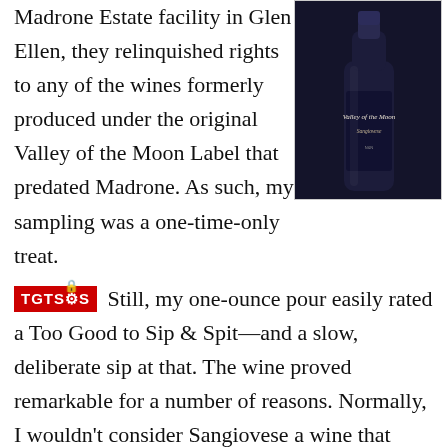Madrone Estate facility in Glen Ellen, they relinquished rights to any of the wines formerly produced under the original Valley of the Moon Label that predated Madrone. As such, my sampling was a one-time-only treat.
[Figure (photo): A dark wine bottle with Valley of the Moon Sangiovese label]
TGTS&S Still, my one-ounce pour easily rated a Too Good to Sip & Spit—and a slow, deliberate sip at that. The wine proved remarkable for a number of reasons. Normally, I wouldn't consider Sangiovese a wine that would be ageable beyond a decade, especially if it hasn't been blended as a SuperTuscan, but, here, 20 years later, this bottling was still hitting its stride, with nary of a hint of having peaked. Moreover, Sangiovese in California was still struggling to find its expression in the 1990s; I can't recall a memorable